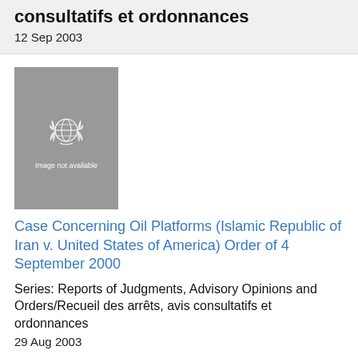consultatifs et ordonnances
12 Sep 2003
[Figure (illustration): Grey book cover placeholder with UN logo (olive branch wreath) and text 'Image not available']
Case Concerning Oil Platforms (Islamic Republic of Iran v. United States of America) Order of 4 September 2000
Series: Reports of Judgments, Advisory Opinions and Orders/Recueil des arrêts, avis consultatifs et ordonnances
29 Aug 2003